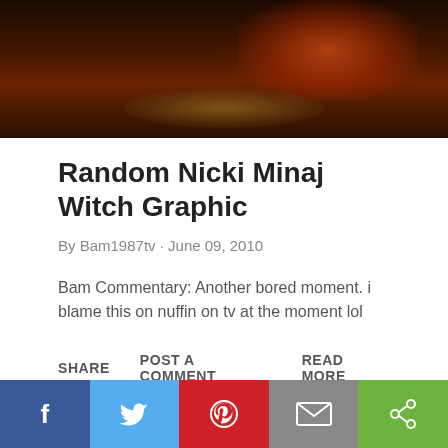[Figure (photo): Top portion of a dark concert/stage photo with red lighting and warm orange glow, partially cropped.]
Random Nicki Minaj Witch Graphic
By Bam1987tv · June 09, 2010
Bam Commentary: Another bored moment. i blame this on nuffin on tv at the moment lol
SHARE   POST A COMMENT   READ MORE
[Figure (photo): Partial view of a colorful graphic/image in yellow, green, and black at the bottom right of the page.]
[Figure (infographic): Social sharing bar at the bottom with Facebook (blue), Twitter (light blue), Pinterest (red), Email (gray), and Share (green) buttons with icons.]